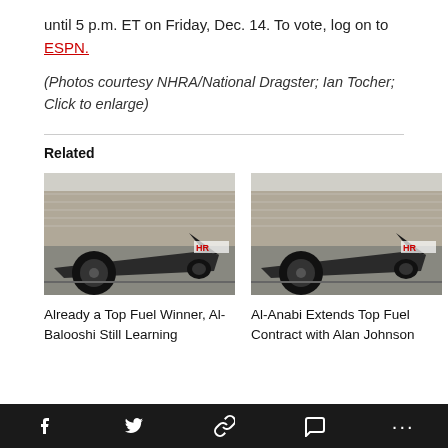until 5 p.m. ET on Friday, Dec. 14. To vote, log on to ESPN.
(Photos courtesy NHRA/National Dragster; Ian Tocher; Click to enlarge)
Related
[Figure (photo): Top fuel dragster racing car on track with crowd in background - left image]
Already a Top Fuel Winner, Al-Balooshi Still Learning
[Figure (photo): Top fuel dragster racing car on track with crowd in background - right image]
Al-Anabi Extends Top Fuel Contract with Alan Johnson
Social share bar: Facebook, Twitter, Link, Comment, More